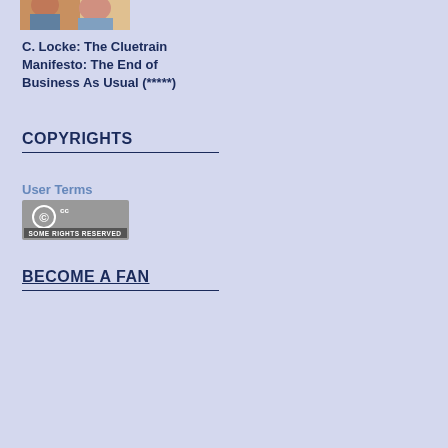[Figure (photo): Partial book cover image showing a person, cropped at top]
C. Locke: The Cluetrain Manifesto: The End of Business As Usual (*****)
COPYRIGHTS
User Terms
[Figure (logo): Creative Commons Some Rights Reserved badge - grey rectangle with CC logo and text SOME RIGHTS RESERVED]
BECOME A FAN